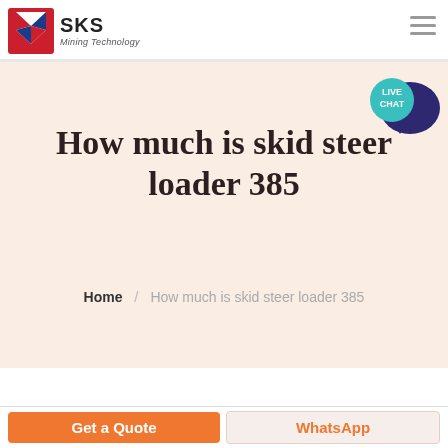SKS Mining Technology
How much is skid steer loader 385
Home / How much is skid steer loader 385
[Figure (logo): SKS Mining Technology logo with red and blue chevron icon and company name]
[Figure (illustration): Live Chat speech bubble button in teal/dark blue]
Get a Quote
WhatsApp